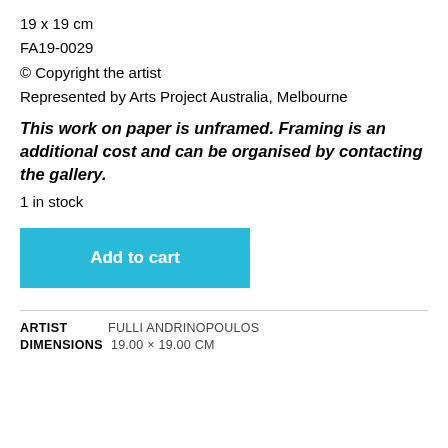19 x 19 cm
FA19-0029
© Copyright the artist
Represented by Arts Project Australia, Melbourne
This work on paper is unframed. Framing is an additional cost and can be organised by contacting the gallery.
1 in stock
Add to cart
ARTIST   FULLI ANDRINOPOULOS
DIMENSIONS   19.00 × 19.00 CM